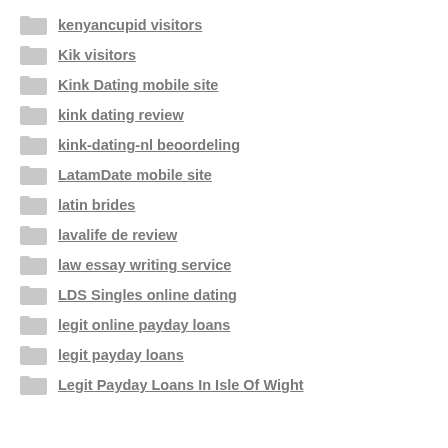kenyancupid visitors
Kik visitors
Kink Dating mobile site
kink dating review
kink-dating-nl beoordeling
LatamDate mobile site
latin brides
lavalife de review
law essay writing service
LDS Singles online dating
legit online payday loans
legit payday loans
Legit Payday Loans In Isle Of Wight